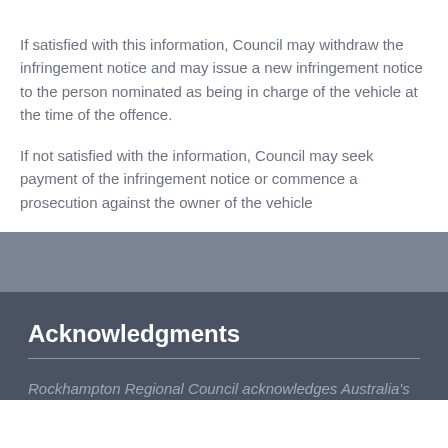If satisfied with this information, Council may withdraw the infringement notice and may issue a new infringement notice to the person nominated as being in charge of the vehicle at the time of the offence.
If not satisfied with the information, Council may seek payment of the infringement notice or commence a prosecution against the owner of the vehicle
Acknowledgments
Rockhampton Regional Council acknowledges Australia's